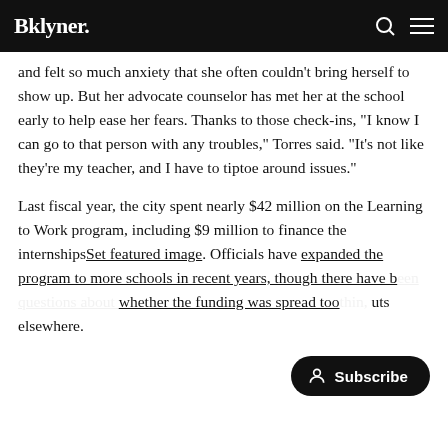Bklyner.
and felt so much anxiety that she often couldn't bring herself to show up. But her advocate counselor has met her at the school early to help ease her fears. Thanks to those check-ins, "I know I can go to that person with any troubles," Torres said. "It's not like they're my teacher, and I have to tiptoe around issues."
Last fiscal year, the city spent nearly $42 million on the Learning to Work program, including $9 million to finance the internshipsSet featured image. Officials have expanded the program to more schools in recent years, though there have been questions about whether the funding was spread too thin, causing cuts elsewhere.